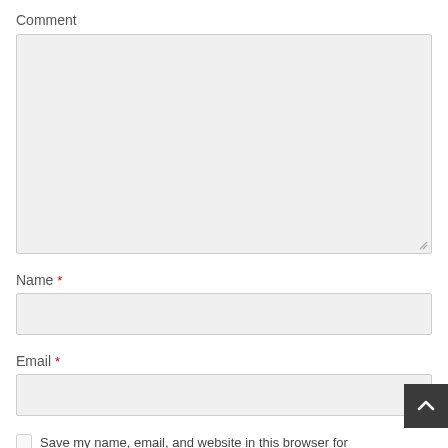Comment
[Figure (screenshot): Large empty comment textarea input box with resize handle in bottom-right corner]
Name *
[Figure (screenshot): Single-line text input field for Name]
Email *
[Figure (screenshot): Single-line text input field for Email]
Save my name, email, and website in this browser for